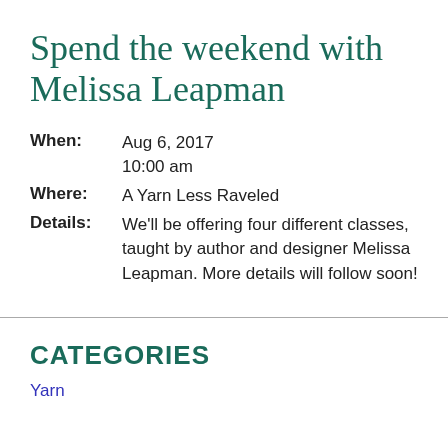Spend the weekend with Melissa Leapman
| When: | Aug 6, 2017 |  |
|  | 10:00 am |  |
| Where: | A Yarn Less Raveled |  |
| Details: | We'll be offering four different classes, taught by author and designer Melissa Leapman.  More details will follow soon! |  |
CATEGORIES
Yarn